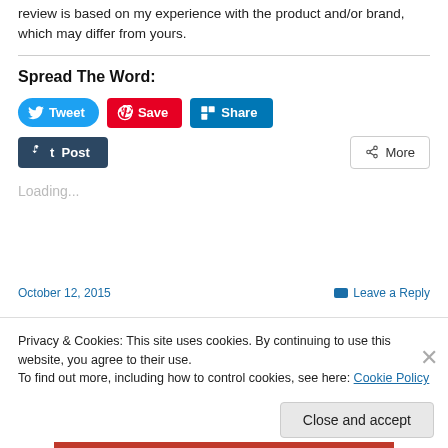review is based on my experience with the product and/or brand, which may differ from yours.
Spread The Word:
[Figure (screenshot): Social share buttons: Tweet (blue rounded), Save (red Pinterest), Share (blue LinkedIn), Post (dark blue Tumblr), More (grey outlined)]
Loading...
Privacy & Cookies: This site uses cookies. By continuing to use this website, you agree to their use. To find out more, including how to control cookies, see here: Cookie Policy
Close and accept